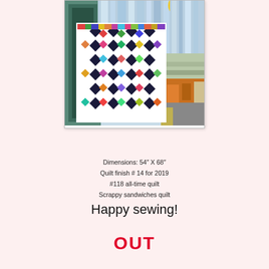[Figure (photo): A colorful scrappy quilt with a diamond/checkerboard pattern in navy blue and multicolored fabrics, held up against a backdrop of large colorful quilts on a wall.]
Dimensions: 54" X 68"
Quilt finish # 14 for 2019
#118 all-time quilt
Scrappy sandwiches quilt
Happy sewing!
OUT